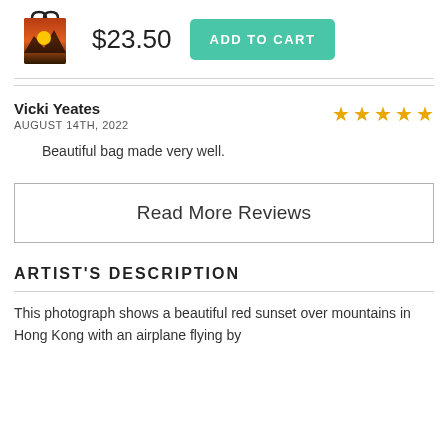[Figure (photo): Tote bag with orange/red sunset over mountains image]
$23.50
ADD TO CART
Vicki Yeates
AUGUST 14TH, 2022
★★★★★ (4 stars)
Beautiful bag made very well.
Read More Reviews
ARTIST'S DESCRIPTION
This photograph shows a beautiful red sunset over mountains in Hong Kong with an airplane flying by